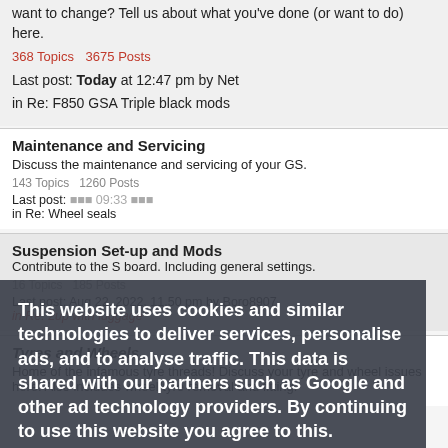want to change? Tell us about what you've done (or want to do) here.
368 Topics   3675 Posts
Last post: Today at 12:47 pm by Net
in Re: F850 GSA Triple black mods
Maintenance and Servicing
Discuss the maintenance and servicing of your GS.
143 Topics   1260 Posts
Last post: ...
in Re: Wheel seals
Suspension Set-up and Mods
...board. Including...general settings...
16 Topics   185 Posts
Last post: Aug 22, 2022, 11.50 pm by Boro8907
in Re: 2up with luggage
Tyres and Wheels
Home of the infamous tyre threads! Discuss your tyre and wheel issues here. Also includes wheel/tyre removal and fitting.
[Figure (other): Cookie consent overlay with text: This website uses cookies and similar technologies to deliver services, personalise ads, and to analyse traffic. This data is shared with our partners such as Google and other ad technology providers. By continuing to use this website you agree to this. View our Privacy and Cookie Policy. I Agree button.]